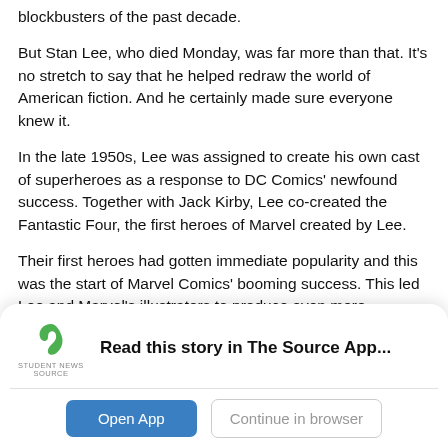blockbusters of the past decade.
But Stan Lee, who died Monday, was far more than that. It’s no stretch to say that he helped redraw the world of American fiction. And he certainly made sure everyone knew it.
In the late 1950s, Lee was assigned to create his own cast of superheroes as a response to DC Comics’ newfound success. Together with Jack Kirby, Lee co-created the Fantastic Four, the first heroes of Marvel created by Lee.
Their first heroes had gotten immediate popularity and this was the start of Marvel Comics’ booming success. This led Lee and Marvel’s illustrators to produce even more characters. With the help of Kirby, they created the Hulk, Iron Man, Thor, and the X-Men. Later on, he co-
[Figure (infographic): App download banner for Student News Source app. Shows a green S logo with 'STUDENT NEWS SOURCE' text, bold text reading 'Read this story in The Source App...', a horizontal divider, and two buttons: 'Open App' (blue) and 'Continue in browser' (outlined).]